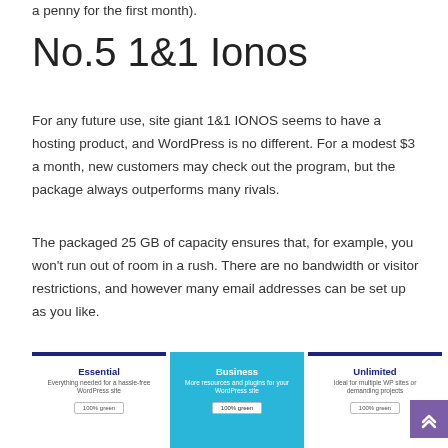a penny for the first month).
No.5 1&1 Ionos
For any future use, site giant 1&1 IONOS seems to have a hosting product, and WordPress is no different. For a modest $3 a month, new customers may check out the program, but the package always outperforms many rivals.
The packaged 25 GB of capacity ensures that, for example, you won't run out of room in a rush. There are no bandwidth or visitor restrictions, and however many email addresses can be set up as you like.
[Figure (infographic): Three pricing plan cards for a WordPress hosting service. Left card: Essential – Everything needed for a hassle-free WordPress site – 100% green. Middle card (highlighted in blue): Business – More resources and plugins for your WordPress site – 100% green. Right card: Unlimited – Ideal for multiple WP sites or demanding projects – 100% green. A purple scroll-up button appears at bottom right.]